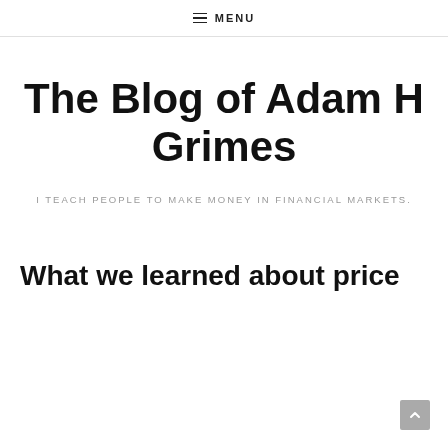≡ MENU
The Blog of Adam H Grimes
I TEACH PEOPLE TO MAKE MONEY IN FINANCIAL MARKETS.
What we learned about price